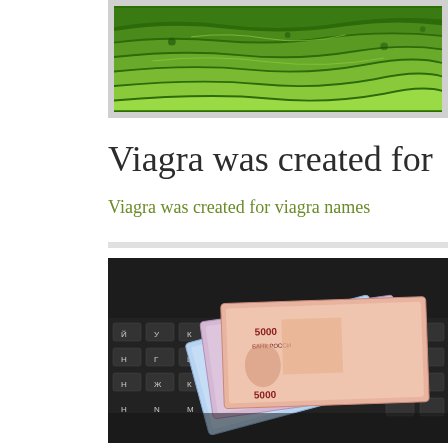[Figure (photo): Aerial view of green terraced fields or farmland]
Viagra was created for
Viagra was created for viagra names
[Figure (photo): Russian ruble banknotes fanned out on a laptop keyboard]